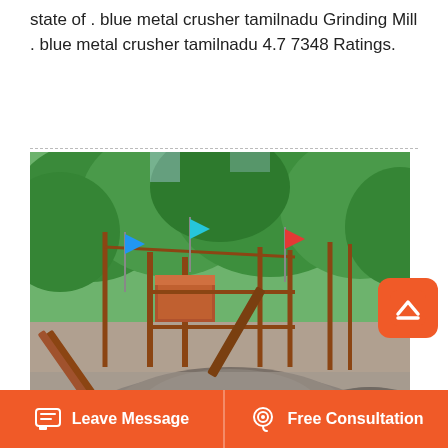state of . blue metal crusher tamilnadu Grinding Mill . blue metal crusher tamilnadu 4.7 7348 Ratings.
[Figure (photo): Outdoor photo of a blue metal (stone) crushing plant with conveyor belts, metal framework, small coloured flags, surrounded by green trees, and large piles of crushed gravel/metal in the foreground.]
Firms In India Manufacturing Clinker Hammer...
Leave Message   Free Consultation